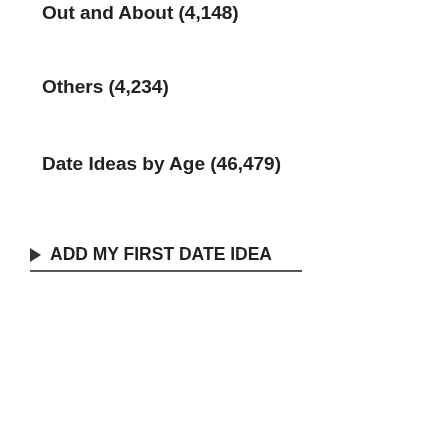Out and About (4,148)
Others (4,234)
Date Ideas by Age (46,479)
▶ ADD MY FIRST DATE IDEA
author ( 51, ... We can cook together. It's g... we can listen drama.
author ( 51, ... Something lo... where we can we'd like to go walki...  see m
author ( 46, n... Trying a new ... Trying each o...
author ( 58, ... Anything from